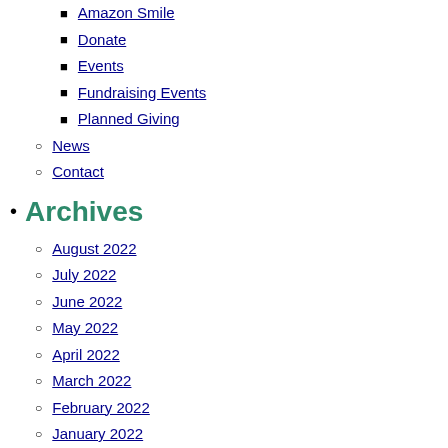Amazon Smile
Donate
Events
Fundraising Events
Planned Giving
News
Contact
Archives
August 2022
July 2022
June 2022
May 2022
April 2022
March 2022
February 2022
January 2022
December 2021
November 2021
July 2021
March 2021
February 2021
January 2021
December 2020